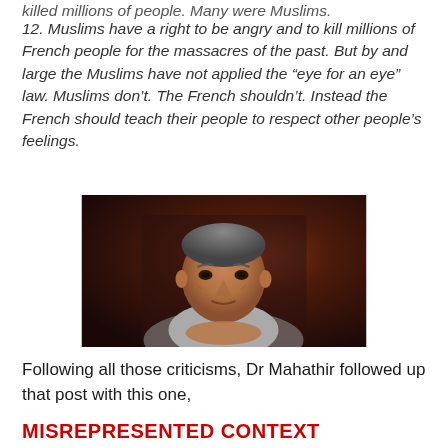killed millions of people. Many were Muslims.
12. Muslims have a right to be angry and to kill millions of French people for the massacres of the past. But by and large the Muslims have not applied the “eye for an eye” law. Muslims don’t. The French shouldn’t. Instead the French should teach their people to respect other people’s feelings.
[Figure (photo): Photo of an elderly Asian man with grey hair, sitting with hands clasped together, appearing to be in a dimly lit room with dark background.]
Following all those criticisms, Dr Mahathir followed up that post with this one,
MISREPRESENTED CONTEXT